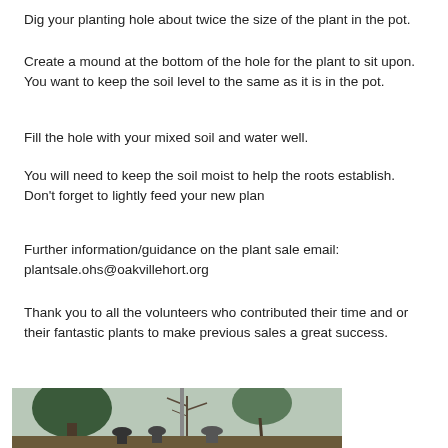Dig your planting hole about twice the size of the plant in the pot.
Create a mound at the bottom of the hole for the plant to sit upon. You want to keep the soil level to the same as it is in the pot.
Fill the hole with your mixed soil and water well.
You will need to keep the soil moist to help the roots establish. Don’t forget to lightly feed your new plan
Further information/guidance on the plant sale email: plantsale.ohs@oakvillehort.org
Thank you to all the volunteers who contributed their time and or their fantastic plants to make previous sales a great success.
[Figure (photo): Outdoor photo showing people at a plant sale event with trees in the background]